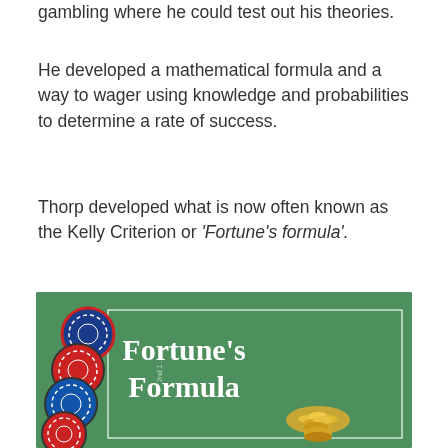gambling where he could test out his theories.
He developed a mathematical formula and a way to wager using knowledge and probabilities to determine a rate of success.
Thorp developed what is now often known as the Kelly Criterion or 'Fortune's formula'.
[Figure (illustration): Book cover or promotional image for 'Fortune's Formula' on a green felt casino table background, with casino chips on the left side and gold coins in a keyhole shape at the bottom right, white rectangle border framing the title text.]